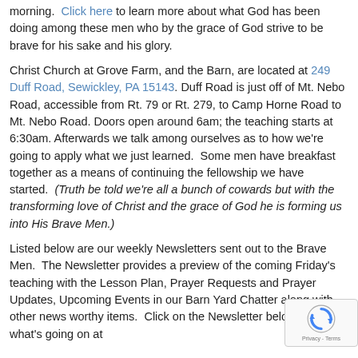morning. Click here to learn more about what God has been doing among these men who by the grace of God strive to be brave for his sake and his glory.
Christ Church at Grove Farm, and the Barn, are located at 249 Duff Road, Sewickley, PA 15143. Duff Road is just off of Mt. Nebo Road, accessible from Rt. 79 or Rt. 279, to Camp Horne Road to Mt. Nebo Road. Doors open around 6am; the teaching starts at 6:30am. Afterwards we talk among ourselves as to how we're going to apply what we just learned.  Some men have breakfast together as a means of continuing the fellowship we have started. (Truth be told we're all a bunch of cowards but with the transforming love of Christ and the grace of God he is forming us into His Brave Men.)
Listed below are our weekly Newsletters sent out to the Brave Men.  The Newsletter provides a preview of the coming Friday's teaching with the Lesson Plan, Prayer Requests and Prayer Updates, Upcoming Events in our Barn Yard Chatter along with other news worthy items.  Click on the Newsletter below to see what's going on at